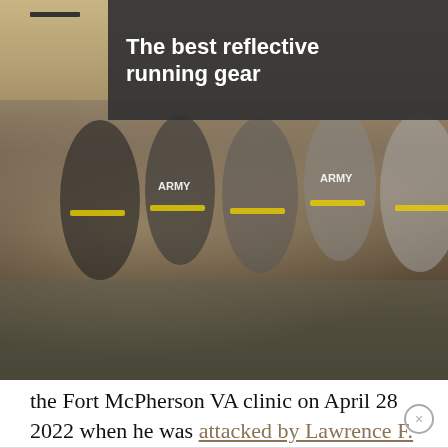[Figure (photo): Group of Army soldiers running in formation, wearing black shorts and Army t-shirts with yellow reflective belts]
The best reflective running gear
the Fort McPherson VA clinic on April 28 2022 when he was attacked by Lawrence F. Gaillard Jr., a patient advocate working at the clinic. Webb said he was there to discuss an upcoming hernia surgery appointment and was letting Gaillard know that he was getting up to use the restroom when the assault began.